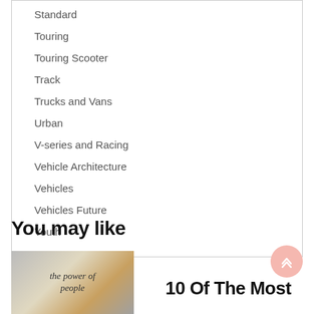Standard
Touring
Touring Scooter
Track
Trucks and Vans
Urban
V-series and Racing
Vehicle Architecture
Vehicles
Vehicles Future
Youth
You may like
[Figure (photo): Photo showing text 'the power of people' on a wall or ceiling]
10 Of The Most